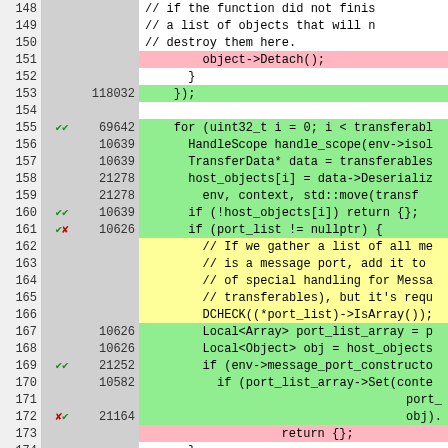[Figure (screenshot): Code coverage diff view showing lines 148-174 with line numbers, coverage markers, hit counts, and code. Lines colored green (covered), pink (uncovered), yellow (comment blocks), white (empty).]